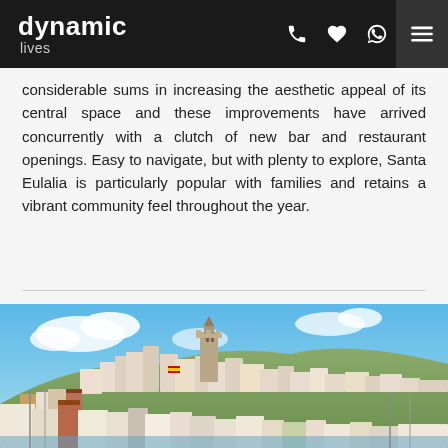dynamic lives — header navigation with phone, heart, WhatsApp icons and menu
considerable sums in increasing the aesthetic appeal of its central space and these improvements have arrived concurrently with a clutch of new bar and restaurant openings. Easy to navigate, but with plenty to explore, Santa Eulalia is particularly popular with families and retains a vibrant community feel throughout the year.
[Figure (photo): Aerial/hillside view of a Mediterranean town (Ibiza/Dalt Vila) with white buildings, a prominent historic cathedral/church tower on a hilltop, colorful facades, blue sky with clouds]